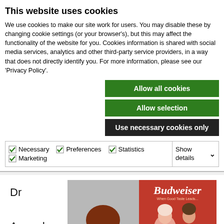This website uses cookies
We use cookies to make our site work for users. You may disable these by changing cookie settings (or your browser's), but this may affect the functionality of the website for you. Cookies information is shared with social media services, analytics and other third-party service providers, in a way that does not directly identify you. For more information, please see our 'Privacy Policy'.
Allow all cookies
Allow selection
Use necessary cookies only
Necessary  Preferences  Statistics  Marketing  Show details
[Figure (photo): Portrait photo of a woman with long red/auburn hair and bangs, facing slightly right]
[Figure (photo): Vintage Budweiser advertisement showing a couple, red background with Budweiser logo at top]
Dr Amanda Marie Atkinson